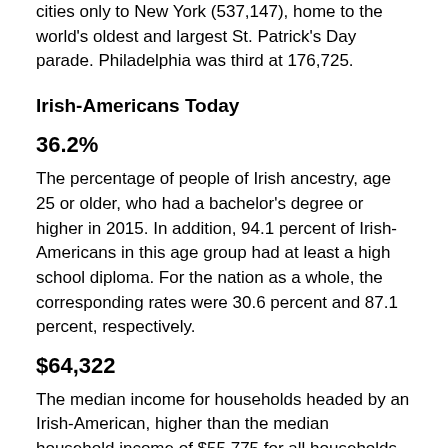cities only to New York (537,147), home to the world's oldest and largest St. Patrick's Day parade. Philadelphia was third at 176,725.
Irish-Americans Today
36.2%
The percentage of people of Irish ancestry, age 25 or older, who had a bachelor's degree or higher in 2015. In addition, 94.1 percent of Irish-Americans in this age group had at least a high school diploma. For the nation as a whole, the corresponding rates were 30.6 percent and 87.1 percent, respectively.
$64,322
The median income for households headed by an Irish-American, higher than the median household income of $55,775 for all households in 2015. In addition, 6.5 percent of family households headed by a householder of Irish